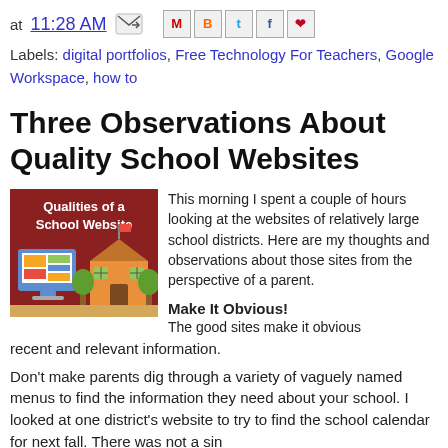at 11:28 AM [email/share icons]
Labels: digital portfolios, Free Technology For Teachers, Google Workspace, how to
Three Observations About Quality School Websites
[Figure (illustration): Graphic with dark red background showing text 'Qualities of a School Website' with an illustration of a school building and a laptop/monitor displaying a colorful website]
This morning I spent a couple of hours looking at the websites of relatively large school districts. Here are my thoughts and observations about those sites from the perspective of a parent.
Make It Obvious!
The good sites make it obvious where parents can find recent and relevant information.
Don't make parents dig through a variety of vaguely named menus to find the information they need about your school. I looked at one district's website to try to find the school calendar for next fall. There was not a sin